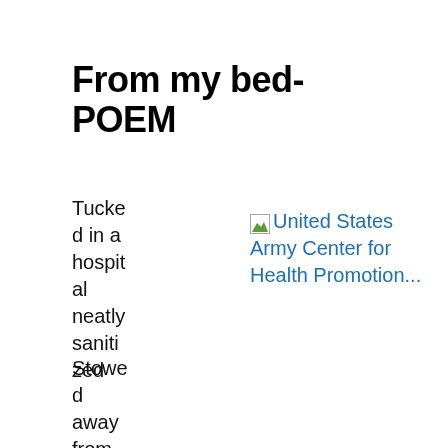From my bed- POEM
Tucked in a hospital neatly sanitized
[Figure (other): Broken image placeholder with link text: United States Army Center for Health Promotion...]
Stowed away from